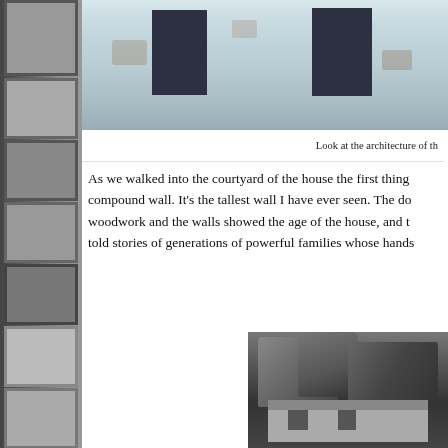[Figure (photo): Partial view of a whitewashed building facade with dark rectangular windows, peeling paint visible]
Look at the architecture of th...
As we walked into the courtyard of the house the first thing... compound wall. It's the tallest wall I have ever seen. The do... woodwork and the walls showed the age of the house, and t... told stories of generations of powerful families whose hands...
[Figure (photo): Black and white historical photograph showing rocky cliff face or mountainside with structures at the base]